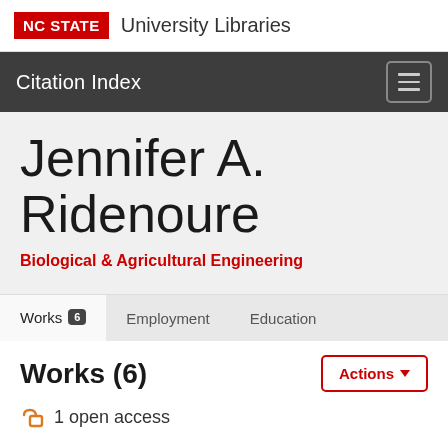NC STATE University Libraries
Citation Index
Jennifer A. Ridenoure
Biological & Agricultural Engineering
Works 6  Employment  Education
Works (6)
1 open access